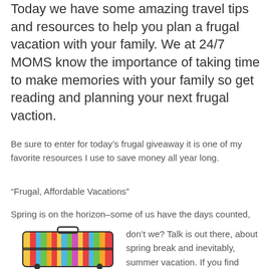Today we have some amazing travel tips and resources to help you plan a frugal vacation with your family. We at 24/7 MOMS know the importance of taking time to make memories with your family so get reading and planning your next frugal vaction.
Be sure to enter for today's frugal giveaway it is one of my favorite resources I use to save money all year long.
“Frugal, Affordable Vacations”
Spring is on the horizon–some of us have the days counted, don’t we? Talk is out there, about spring break and inevitably, summer vacation. If you find
[Figure (photo): A colorful striped suitcase with black handles and straps]